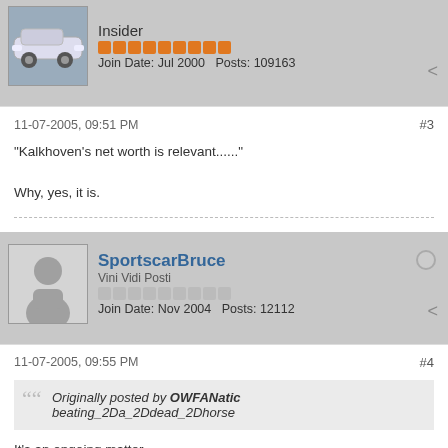Insider
Join Date: Jul 2000  Posts: 109163
11-07-2005, 09:51 PM
#3
"Kalkhoven's net worth is relevant......"

Why, yes, it is.
SportscarBruce
Vini Vidi Posti
Join Date: Nov 2004  Posts: 12112
11-07-2005, 09:55 PM
#4
Originally posted by OWFANatic
beating_2Da_2Ddead_2Dhorse
It's an ongoing matter.